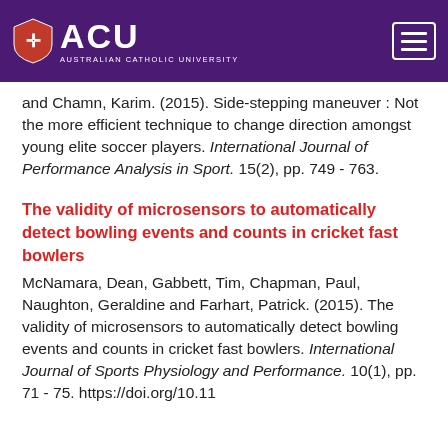[Figure (logo): ACU Australian Catholic University logo with shield icon and hamburger menu button on purple background header bar]
and Chamn, Karim. (2015). Side-stepping maneuver : Not the more efficient technique to change direction amongst young elite soccer players. International Journal of Performance Analysis in Sport. 15(2), pp. 749 - 763.
The validity of microsensors to automatically detect bowling events and counts in cricket fast bowlers
McNamara, Dean, Gabbett, Tim, Chapman, Paul, Naughton, Geraldine and Farhart, Patrick. (2015). The validity of microsensors to automatically detect bowling events and counts in cricket fast bowlers. International Journal of Sports Physiology and Performance. 10(1), pp. 71 - 75. https://doi.org/10.11